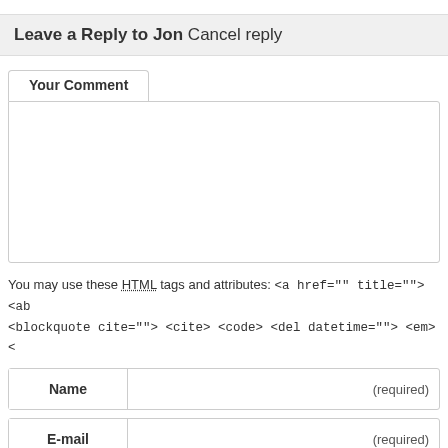Leave a Reply to Jon Cancel reply
Your Comment
You may use these HTML tags and attributes: <a href="" title=""> <abl <blockquote cite=""> <cite> <code> <del datetime=""> <em> <
| Name |  | (required) |
| --- | --- | --- |
| E-mail |  | (required) |
| --- | --- | --- |